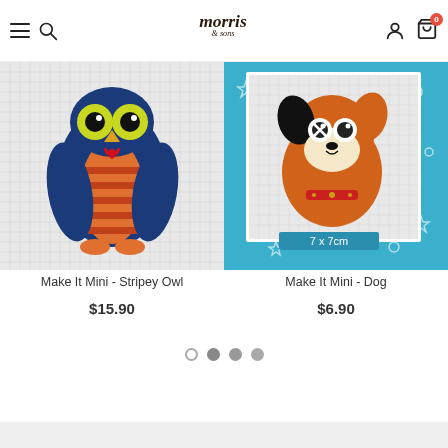Morris & Sons
[Figure (photo): Cross-stitch needlework kit showing a colorful stripey owl on a white canvas grid background]
Make It Mini - Stripey Owl
$15.90
[Figure (photo): Cross-stitch needlework kit showing an orange dog on a teal/blue background with stars and circles, labeled 7x7cm]
Make It Mini - Dog
$6.90